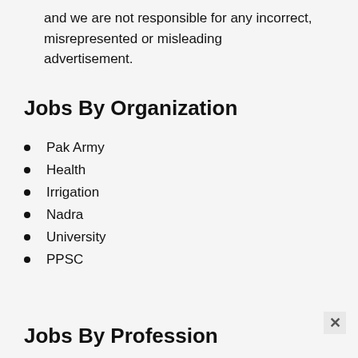and we are not responsible for any incorrect, misrepresented or misleading advertisement.
Jobs By Organization
Pak Army
Health
Irrigation
Nadra
University
PPSC
Jobs By Profession